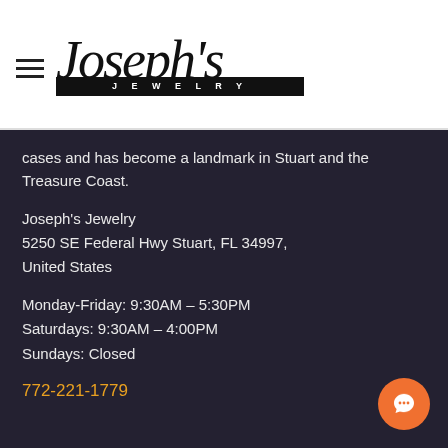[Figure (logo): Joseph's Jewelry logo with cursive text and JEWELRY underbar]
cases and has become a landmark in Stuart and the Treasure Coast.
Joseph's Jewelry
5250 SE Federal Hwy Stuart, FL 34997,
United States
Monday-Friday: 9:30AM – 5:30PM
Saturdays: 9:30AM – 4:00PM
Sundays: Closed
772-221-1779
Recent Post